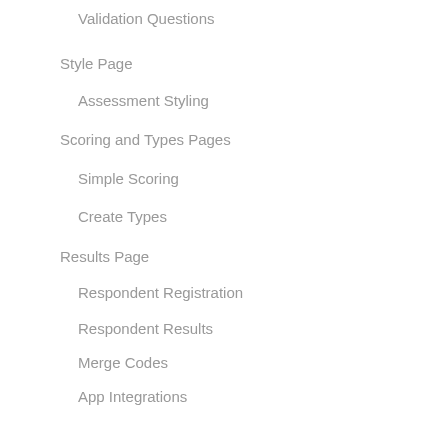Validation Questions
Style Page
Assessment Styling
Scoring and Types Pages
Simple Scoring
Create Types
Results Page
Respondent Registration
Respondent Results
Merge Codes
App Integrations
Webhook Integrations
Assessment Alerts
Redirect Respondents